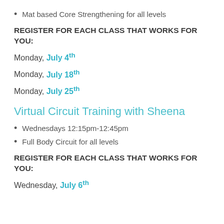Mat based Core Strengthening for all levels
REGISTER FOR EACH CLASS THAT WORKS FOR YOU:
Monday, July 4th
Monday, July 18th
Monday, July 25th
Virtual Circuit Training with Sheena
Wednesdays 12:15pm-12:45pm
Full Body Circuit for all levels
REGISTER FOR EACH CLASS THAT WORKS FOR YOU:
Wednesday, July 6th